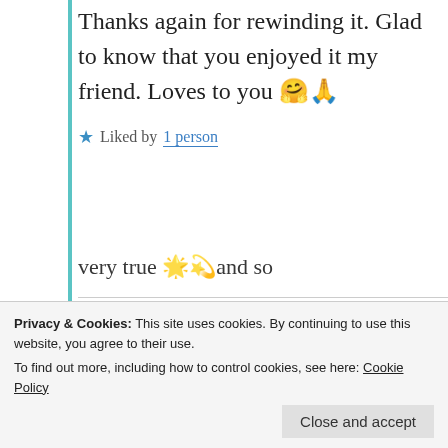Thanks again for rewinding it. Glad to know that you enjoyed it my friend. Loves to you 🤗🙏
★ Liked by 1 person
Thattamma
very true 🌟💫and so
Privacy & Cookies: This site uses cookies. By continuing to use this website, you agree to their use. To find out more, including how to control cookies, see here: Cookie Policy
Close and accept